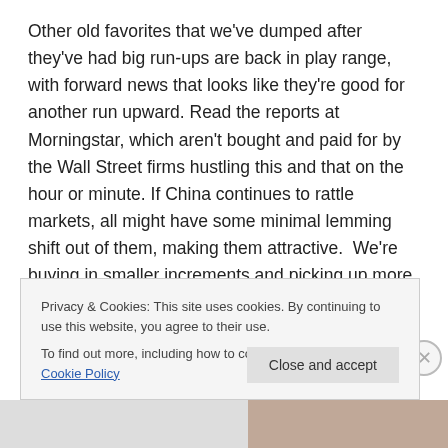Other old favorites that we've dumped after they've had big run-ups are back in play range, with forward news that looks like they're good for another run upward. Read the reports at Morningstar, which aren't bought and paid for by the Wall Street firms hustling this and that on the hour or minute. If China continues to rattle markets, all might have some minimal lemming shift out of them, making them attractive.  We're buying in smaller increments and picking up more at a lower price if we can get them using the laddering techniques we've described here at the VG.
Here's our thinking on them:
Privacy & Cookies: This site uses cookies. By continuing to use this website, you agree to their use.
To find out more, including how to control cookies, see here: Cookie Policy
Close and accept